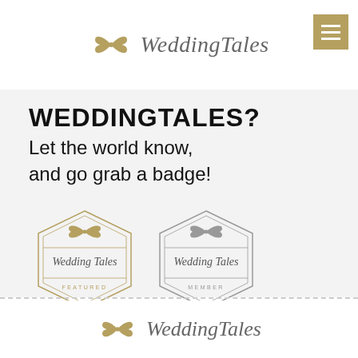[Figure (logo): WeddingTales logo with gold bow/ribbon icon and italic serif text 'WeddingTales', plus a gold hamburger menu button on the right]
WEDDINGTALES? Let the world know, and go grab a badge!
[Figure (illustration): Two WeddingTales badge icons: one gold 'Featured' badge and one gray 'Member' badge, both with hexagonal/diamond border shapes and bow ribbon icons]
[Figure (logo): WeddingTales footer logo with gold bow/ribbon icon and italic serif text 'WeddingTales']